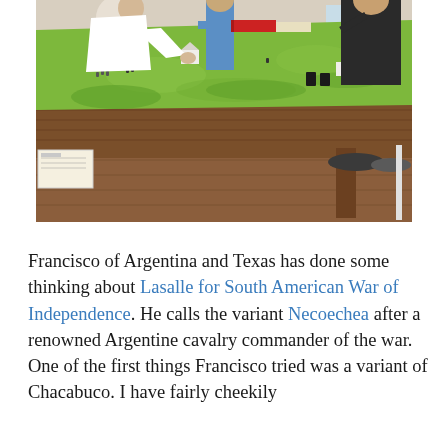[Figure (photo): Photo of a tabletop wargame in progress on a large green game board. A man in a white shirt leans over the table arranging miniatures. Several other people stand in the background observing. The table surface has miniature terrain pieces, small figurines, and a wooden frame.]
Francisco of Argentina and Texas has done some thinking about Lasalle for South American War of Independence. He calls the variant Necoechea after a renowned Argentine cavalry commander of the war. One of the first things Francisco tried was a variant of Chacabuco. I have fairly cheekily